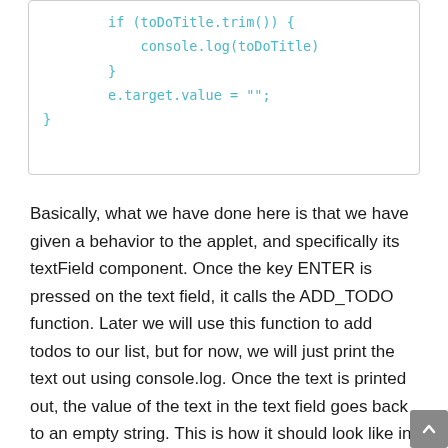if (toDoTitle.trim()) {
        console.log(toDoTitle)
    }
    e.target.value = "";
}
Basically, what we have done here is that we have given a behavior to the applet, and specifically its textField component. Once the key ENTER is pressed on the text field, it calls the ADD_TODO function. Later we will use this function to add todos to our list, but for now, we will just print the text out using console.log. Once the text is printed out, the value of the text in the text field goes back to an empty string. This is how it should look like in your browser